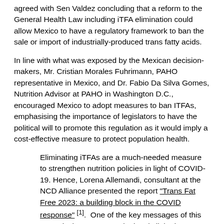agreed with Sen Valdez concluding that a reform to the General Health Law including iTFA elimination could allow Mexico to have a regulatory framework to ban the sale or import of industrially-produced trans fatty acids.
In line with what was exposed by the Mexican decision-makers, Mr. Cristian Morales Fuhrimann, PAHO representative in Mexico, and Dr. Fabio Da Silva Gomes, Nutrition Advisor at PAHO in Washington D.C., encouraged Mexico to adopt measures to ban ITFAs, emphasising the importance of legislators to have the political will to promote this regulation as it would imply a cost-effective measure to protect population health.
Eliminating iTFAs are a much-needed measure to strengthen nutrition policies in light of COVID-19. Hence, Lorena Allemandi, consultant at the NCD Alliance presented the report “Trans Fat Free 2023: a building block in the COVID response” [1].  One of the key messages of this report is that COVID-19 is deeply linked to NCDs and share many risk factors, that both the NCD burden and vulnerability to infectious diseases could be reduced by effective policy measures